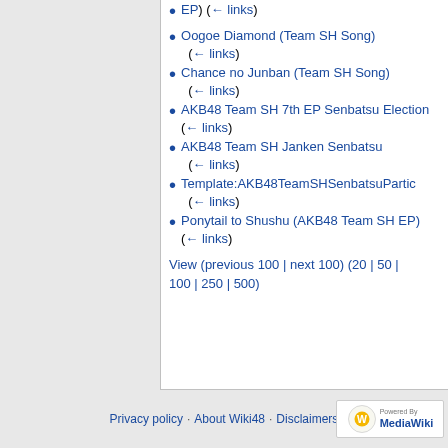EP) (← links)
Oogoe Diamond (Team SH Song) (← links)
Chance no Junban (Team SH Song) (← links)
AKB48 Team SH 7th EP Senbatsu Election (← links)
AKB48 Team SH Janken Senbatsu (← links)
Template:AKB48TeamSHSenbatsuParti… (← links)
Ponytail to Shushu (AKB48 Team SH EP) (← links)
View (previous 100 | next 100) (20 | 50 | 100 | 250 | 500)
Privacy policy · About Wiki48 · Disclaimers